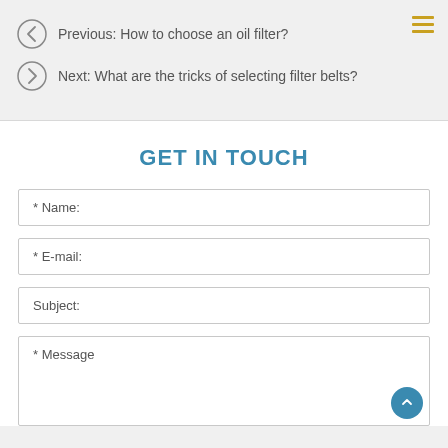Previous: How to choose an oil filter?
Next: What are the tricks of selecting filter belts?
GET IN TOUCH
* Name:
* E-mail:
Subject:
* Message